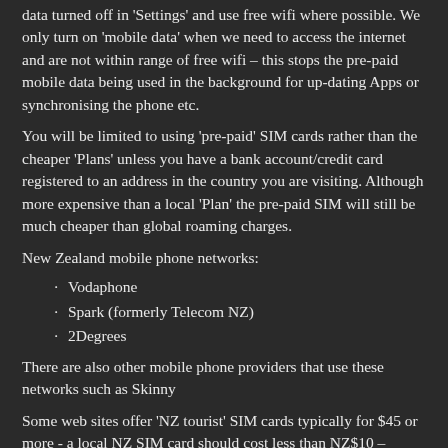data turned off in 'Settings' and use free wifi where possible. We only turn on 'mobile data' when we need to access the internet and are not within range of free wifi – this stops the pre-paid mobile data being used in the background for up-dating Apps or synchronising the phone etc.
You will be limited to using 'pre-paid' SIM cards rather than the cheaper 'Plans' unless you have a bank account/credit card registered to an address in the country you are visiting. Although more expensive than a local 'Plan' the pre-paid SIM will still be much cheaper than global roaming charges.
New Zealand mobile phone networks:
Vodaphone
Spark (formerly Telecom NZ)
2Degrees
There are also other mobile phone providers that use these networks such as Skinny
Some web sites offer 'NZ tourist' SIM cards typically for $45 or more - a local NZ SIM card should cost less than NZ$10 –